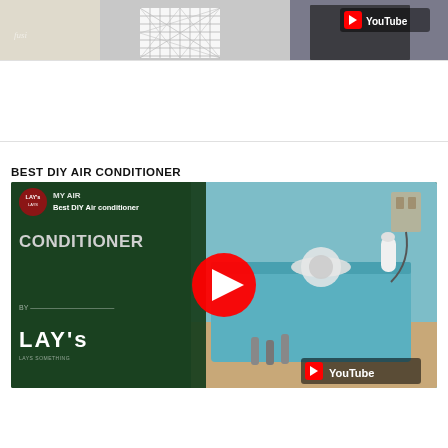[Figure (screenshot): YouTube video thumbnail showing a person holding an HVAC air filter with a YouTube logo badge in the bottom right corner]
BEST DIY AIR CONDITIONER
[Figure (screenshot): YouTube video thumbnail for 'Best DIY Air Conditioner' by LAY's channel, showing a blue cooler box with fan components and LAY's logo, with YouTube play button overlay]